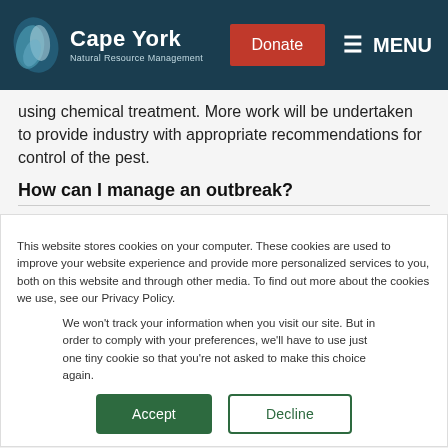Cape York Natural Resource Management | Donate | MENU
using chemical treatment. More work will be undertaken to provide industry with appropriate recommendations for control of the pest.
How can I manage an outbreak?
This website stores cookies on your computer. These cookies are used to improve your website experience and provide more personalized services to you, both on this website and through other media. To find out more about the cookies we use, see our Privacy Policy.
We won't track your information when you visit our site. But in order to comply with your preferences, we'll have to use just one tiny cookie so that you're not asked to make this choice again.
Accept | Decline